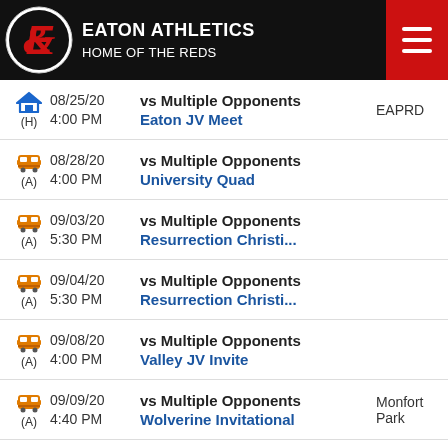EATON ATHLETICS
HOME OF THE REDS
08/25/20 | 4:00 PM | vs Multiple Opponents | Eaton JV Meet | (H) | EAPRD
08/28/20 | 4:00 PM | vs Multiple Opponents | University Quad | (A)
09/03/20 | 5:30 PM | vs Multiple Opponents | Resurrection Christi... | (A)
09/04/20 | 5:30 PM | vs Multiple Opponents | Resurrection Christi... | (A)
09/08/20 | 4:00 PM | vs Multiple Opponents | Valley JV Invite | (A)
09/09/20 | 4:40 PM | vs Multiple Opponents | Wolverine Invitational | (A) | Monfort Park